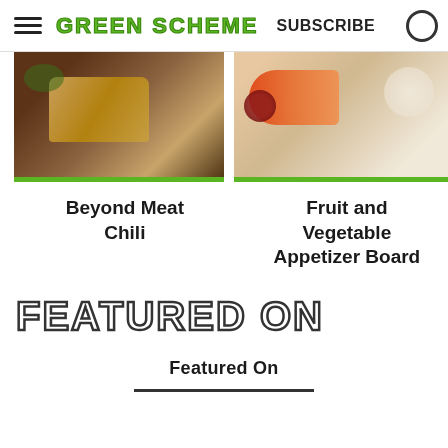GREEN SCHEME  SUBSCRIBE
[Figure (photo): Food photo showing Beyond Meat Chili in a serving dish on a wooden board]
[Figure (photo): Food photo showing a Fruit and Vegetable Appetizer Board with carrots, grapes, and dips]
Beyond Meat Chili
Fruit and Vegetable Appetizer Board
FEATURED ON
Featured On